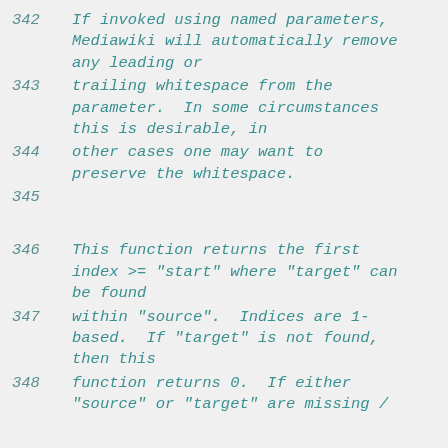342   If invoked using named parameters, Mediawiki will automatically remove any leading or
343   trailing whitespace from the parameter.  In some circumstances this is desirable, in
344   other cases one may want to preserve the whitespace.
345
346   This function returns the first index >= "start" where "target" can be found
347   within "source".  Indices are 1-based.  If "target" is not found, then this
348   function returns 0.  If either "source" or "target" are missing /